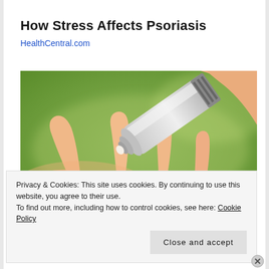How Stress Affects Psoriasis
HealthCentral.com
[Figure (photo): Close-up photo of a hand applying cream from a silver tube onto fingers, with a green blurred background.]
Privacy & Cookies: This site uses cookies. By continuing to use this website, you agree to their use.
To find out more, including how to control cookies, see here: Cookie Policy
Close and accept